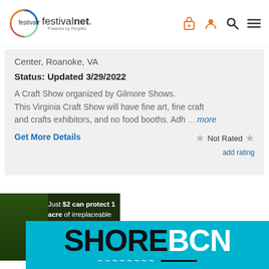festivalnet. Powered by Peoples
Center, Roanoke, VA
Status: Updated 3/29/2022
A Craft Show organized by Gilmore Shows. This Virginia Craft Show will have fine art, fine craft and crafts exhibitors, and no food booths. Adh ... more
Get More Details
Not Rated
add rating
[Figure (screenshot): Amazon conservation ad: Just $2 can protect 1 acre of irreplaceable forest homes in the Amazon. How many acres will you protect?]
[Figure (screenshot): SHOREBCN advertisement banner on teal/cyan background with large bold black and white text]